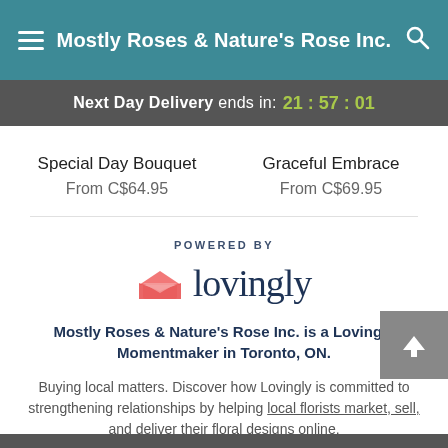Mostly Roses & Nature's Rose Inc.
Next Day Delivery ends in: 21:57:01
Special Day Bouquet
From C$64.95
Graceful Embrace
From C$69.95
[Figure (logo): Lovingly logo with heart icon and wordmark. Text above reads POWERED BY.]
Mostly Roses & Nature's Rose Inc. is a Lovingly Momentmaker in Toronto, ON.
Buying local matters. Discover how Lovingly is committed to strengthening relationships by helping local florists market, sell, and deliver their floral designs online.